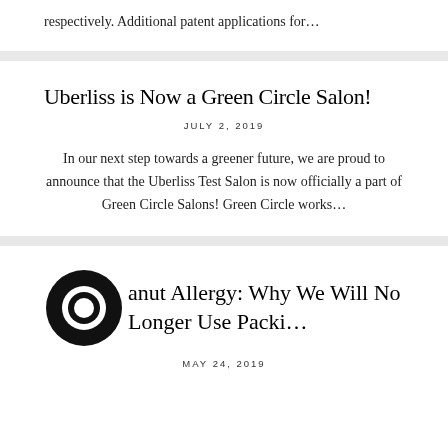respectively. Additional patent applications for...
Uberliss is Now a Green Circle Salon!
JULY 2, 2019
In our next step towards a greener future, we are proud to announce that the Uberliss Test Salon is now officially a part of Green Circle Salons! Green Circle works...
[Figure (logo): Black circle logo with white inner circle (donut shape)]
anut Allergy: Why We Will No Longer Use Packi...
MAY 24, 2019